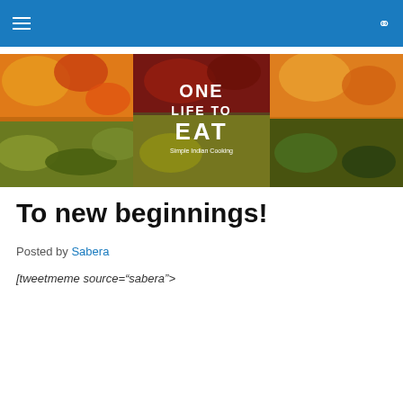Navigation bar with hamburger menu and search icon
[Figure (illustration): One Life to Eat blog banner with food photography background and logo text reading ONE LIFE TO EAT - Simple Indian Cooking]
To new beginnings!
Posted by Sabera
[tweetmeme source="sabera" only_single=false]
Privacy & Cookies: This site uses cookies. By continuing to use this website, you agree to their use.
To find out more, including how to control cookies, see here: Cookie Policy
Close and accept